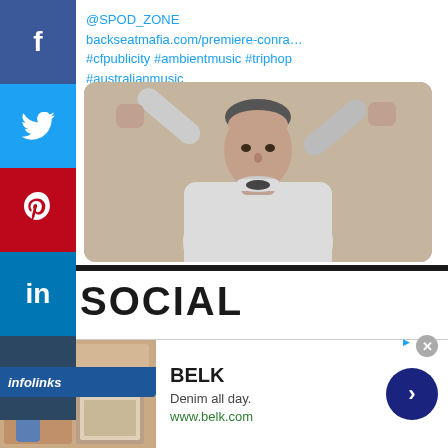@SPOD_ZONE backseatmafia.com/premiere-conra… #cfpublicity #ambientmusic #triphop #australianmusic
[Figure (photo): Man in grey sweatshirt with both fists raised, posing against a beige/tan background]
SOCIAL
[Figure (infographic): Ad banner for BELK: 'Denim all day. www.belk.com' with fashion images on left and navy arrow button on right]
[Figure (infographic): Infolinks branding bar in bottom-left corner]
[Figure (infographic): Social sharing sidebar with Facebook, Twitter, Pinterest, LinkedIn, and Tumblr buttons]